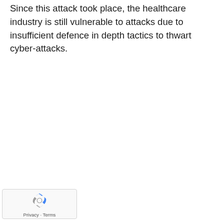Since this attack took place, the healthcare industry is still vulnerable to attacks due to insufficient defence in depth tactics to thwart cyber-attacks.
[Figure (logo): reCAPTCHA widget with recycling-arrow logo icon and Privacy · Terms links]